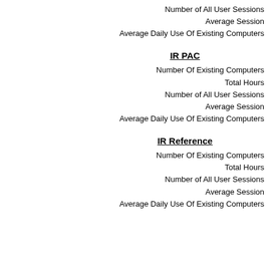Number of All User Sessions
Average Session
Average Daily Use Of Existing Computers
IR PAC
Number Of Existing Computers
Total Hours
Number of All User Sessions
Average Session
Average Daily Use Of Existing Computers
IR Reference
Number Of Existing Computers
Total Hours
Number of All User Sessions
Average Session
Average Daily Use Of Existing Computers